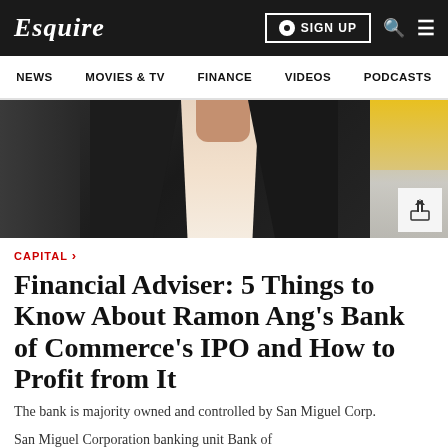Esquire | SIGN UP
NEWS   MOVIES & TV   FINANCE   VIDEOS   PODCASTS
[Figure (photo): Photo of a man in a dark suit with white shirt, cropped to show torso and neck, with colorful industrial background]
CAPITAL
Financial Adviser: 5 Things to Know About Ramon Ang's Bank of Commerce's IPO and How to Profit from It
The bank is majority owned and controlled by San Miguel Corp.
San Miguel Corporation banking unit Bank of